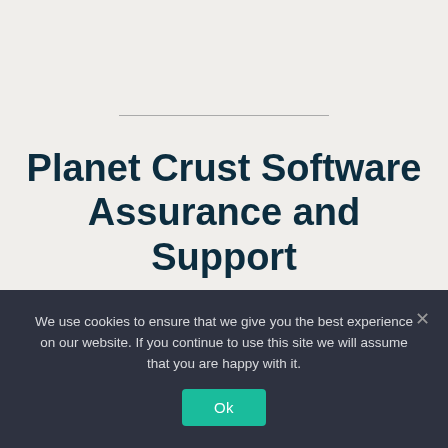Planet Crust Software Assurance and Support
We use cookies to ensure that we give you the best experience on our website. If you continue to use this site we will assume that you are happy with it.